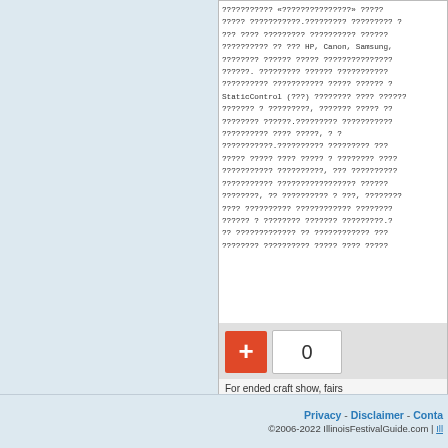??????????? «???????????????» ?????? ????? ???????????.????????? ????????? ??? ???? ????????? ?????????? ?????? ?????????? ?? ??? HP, Canon, Samsung, ???????? ?????? ????? ????????????? ??????. ????????? ?????? ??????????? ?????????? ??????????? ????? ?????? ? StaticControl (???) ???????? ???? ??????? ??????? ? ?????????, ??????? ????? ?? ???????? ??????.????????? ??????????? ?????????? ???? ?????, ? ??????????? ?????????? ????????? ??? ????? ????? ???? ????? ? ???????? ???? ??????????? ??????????, ??? ?????????? ??????????? ????????????????? ?????? ????????, ?? ?????????? ? ???, ???????? ???? ?????????? ???????????? ???????? ?????? ? ???????? ??????? ?????????.?? ????????????? ?? ???????????? ??? ???????? ?????????? ????? ???? ?????
[Figure (screenshot): Add to cart button with quantity 0 input field, red plus button]
For ended craft show, fairs
Privacy - Disclaimer - Contact | ©2006-2022 IllinoisFestivalGuide.com